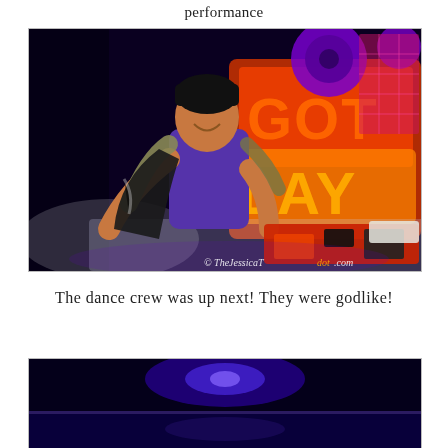performance
[Figure (photo): Young man in a purple t-shirt with a metallic jacket, smiling and performing on stage with colorful neon signage reading 'GOT PLAY' in background, watermark reads © TheJessicaTdot.com]
The dance crew was up next! They were godlike!
[Figure (photo): Dark stage scene with blue/purple lighting, bottom portion of a performance stage visible]